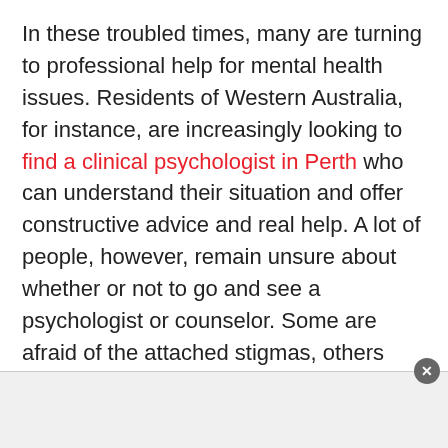In these troubled times, many are turning to professional help for mental health issues. Residents of Western Australia, for instance, are increasingly looking to find a clinical psychologist in Perth who can understand their situation and offer constructive advice and real help. A lot of people, however, remain unsure about whether or not to go and see a psychologist or counselor. Some are afraid of the attached stigmas, others aren't convinced or are unaware that it's something from which they could benefit.